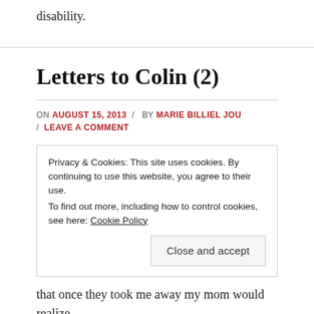disability.
Letters to Colin (2)
ON AUGUST 15, 2013 / BY MARIE BILLIEL JOU / LEAVE A COMMENT
Privacy & Cookies: This site uses cookies. By continuing to use this website, you agree to their use. To find out more, including how to control cookies, see here: Cookie Policy
Close and accept
that once they took me away my mom would realize